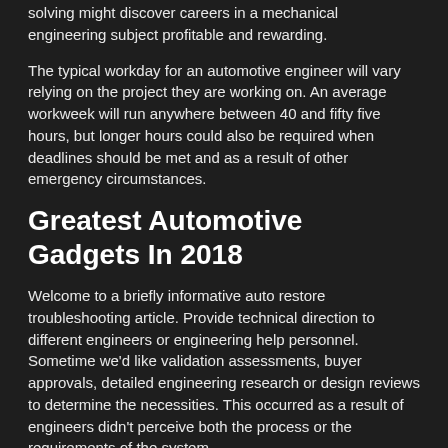solving might discover careers in a mechanical engineering subject profitable and rewarding.
The typical workday for an automotive engineer will vary relying on the project they are working on. An average workweek will run anywhere between 40 and fifty five hours, but longer hours could also be required when deadlines should be met and as a result of other emergency circumstances.
Greatest Automotive Gadgets In 2018
Welcome to a briefly informative auto restore troubleshooting article. Provide technical direction to different engineers or engineering help personnel. Sometime we'd like validation assessments, buyer approvals, detailed engineering research or design reviews to determine the necessities. This occurred as a result of engineers didn't perceive both the process or the requirements of the system.
There are various environmental issues that can maintain mechanical engineers on their toes to ensure that their merchandise aren't harming the setting. The automobile is made up of difficult braking, steering, and electrical systems, in addition to the engine and drive practice.
automotive engineering master, automotive engineering corporation china, automotive engineering pdf notes